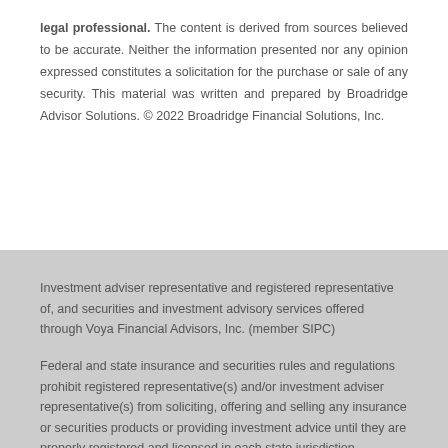legal professional. The content is derived from sources believed to be accurate. Neither the information presented nor any opinion expressed constitutes a solicitation for the purchase or sale of any security. This material was written and prepared by Broadridge Advisor Solutions. © 2022 Broadridge Financial Solutions, Inc.
Investment adviser representative and registered representative of, and securities and investment advisory services offered through Voya Financial Advisors, Inc. (member SIPC)
Federal and state insurance and securities rules and regulations prohibit registered representative(s) and/or investment adviser representative(s) from soliciting, offering and selling any insurance or securities products or providing investment advice until they are properly registered and licensed in each state jurisdiction.